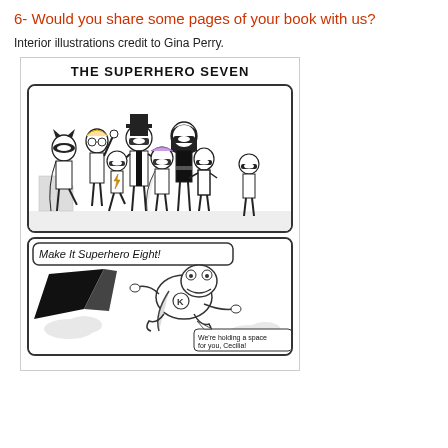6- Would you share some pages of your book with us?
Interior illustrations credit to Gina Perry.
[Figure (illustration): Two comic-style book illustration panels. Top panel shows 'THE SUPERHERO SEVEN' title with seven cartoon children dressed as superheroes in a group pose. Bottom panel shows a frog character flying with a cape with speech bubble text 'Make It Superhero Eight!' and another bubble 'We're holding a space for you, Cecilia!']